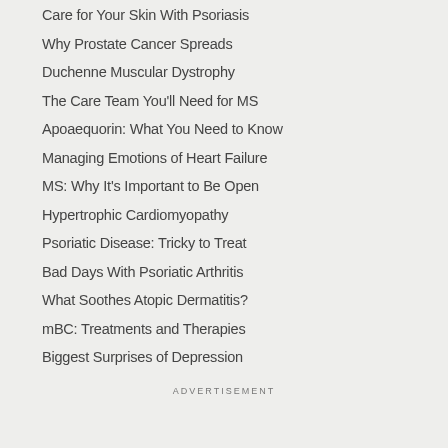Care for Your Skin With Psoriasis
Why Prostate Cancer Spreads
Duchenne Muscular Dystrophy
The Care Team You'll Need for MS
Apoaequorin: What You Need to Know
Managing Emotions of Heart Failure
MS: Why It's Important to Be Open
Hypertrophic Cardiomyopathy
Psoriatic Disease: Tricky to Treat
Bad Days With Psoriatic Arthritis
What Soothes Atopic Dermatitis?
mBC: Treatments and Therapies
Biggest Surprises of Depression
ADVERTISEMENT